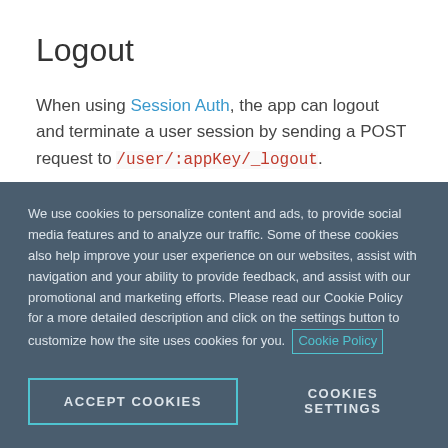Logout
When using Session Auth, the app can logout and terminate a user session by sending a POST request to /user/:appKey/_logout.
When authenticated with a valid Kinvey auth token, the logout request will destroy the token and return a HTTP 204 response. Any subsequent requests that use the same auth token will be rejected with the HTTP 401
We use cookies to personalize content and ads, to provide social media features and to analyze our traffic. Some of these cookies also help improve your user experience on our websites, assist with navigation and your ability to provide feedback, and assist with our promotional and marketing efforts. Please read our Cookie Policy for a more detailed description and click on the settings button to customize how the site uses cookies for you. Cookie Policy
ACCEPT COOKIES    COOKIES SETTINGS